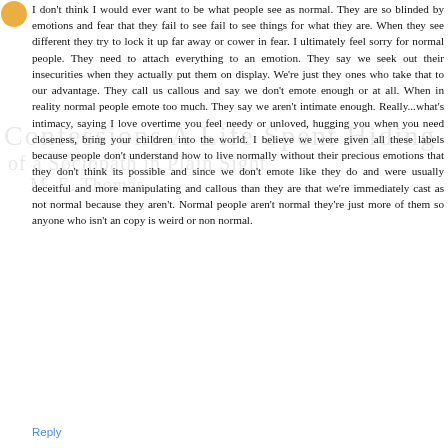I don't think I would ever want to be what people see as normal. They are so blinded by emotions and fear that they fail to see fail to see things for what they are. When they see different they try to lock it up far away or cower in fear. I ultimately feel sorry for normal people. They need to attach everything to an emotion. They say we seek out their insecurities when they actually put them on display. We're just they ones who take that to our advantage. They call us callous and say we don't emote enough or at all. When in reality normal people emote too much. They say we aren't intimate enough. Really...what's intimacy, saying I love overtime you feel needy or unloved, hugging you when you need closeness, bring your children into the world. I believe we were given all these labels because people don't understand how to live normally without their precious emotions that they don't think its possible and since we don't emote like they do and were usually deceitful and more manipulating and callous than they are that we're immediately cast as not normal because they aren't. Normal people aren't normal they're just more of them so anyone who isn't an copy is weird or non normal.
Reply